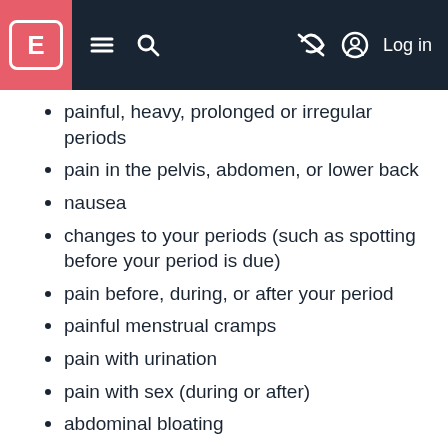E [logo] ≡ 🔍 [eye-slash icon] [user icon] Log in
painful, heavy, prolonged or irregular periods
pain in the pelvis, abdomen, or lower back
nausea
changes to your periods (such as spotting before your period is due)
pain before, during, or after your period
painful menstrual cramps
pain with urination
pain with sex (during or after)
abdominal bloating